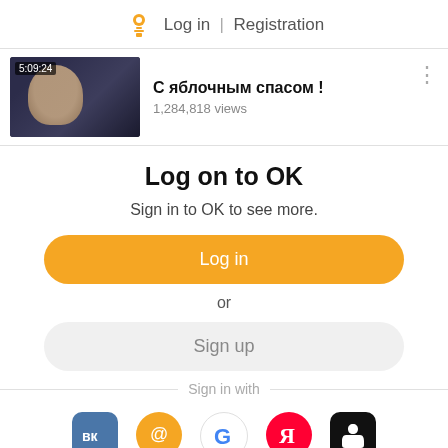Log in | Registration
[Figure (screenshot): Video thumbnail showing a man with time badge 5:09:24, title: С яблочным спасом !, 1,284,818 views]
Log on to OK
Sign in to OK to see more.
Log in
or
Sign up
Sign in with
[Figure (infographic): Social login icons: VK, Mail, Google, Yandex, Apple]